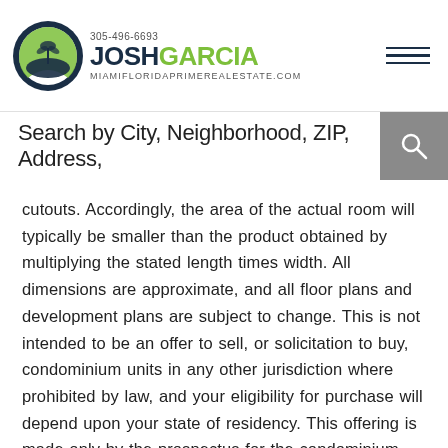JOSH GARCIA — 305-496-6693 — MIAMIFLORIDAPRIMEREALESTATE.COM
Search by City, Neighborhood, ZIP, Address,
cutouts. Accordingly, the area of the actual room will typically be smaller than the product obtained by multiplying the stated length times width. All dimensions are approximate, and all floor plans and development plans are subject to change. This is not intended to be an offer to sell, or solicitation to buy, condominium units in any other jurisdiction where prohibited by law, and your eligibility for purchase will depend upon your state of residency. This offering is made only by the prospectus for the condominium and no statement should be relied upon if not made in the